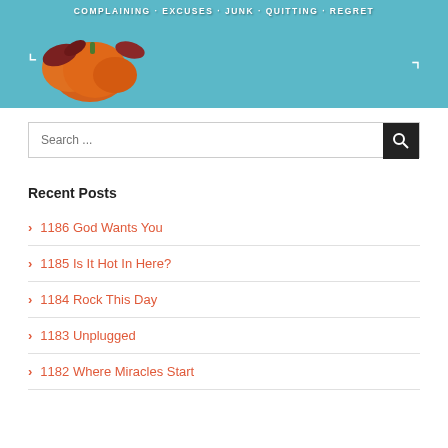[Figure (photo): Banner image with pumpkins and autumn leaves on a teal/blue background with text 'COMPLAINING - EXCUSES - JUNK - QUITTING - REGRET' and bracket corner marks]
Search ...
Recent Posts
1186 God Wants You
1185 Is It Hot In Here?
1184 Rock This Day
1183 Unplugged
1182 Where Miracles Start